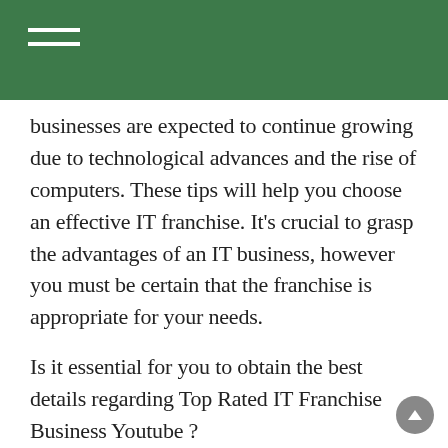businesses are expected to continue growing due to technological advances and the rise of computers. These tips will help you choose an effective IT franchise. It’s crucial to grasp the advantages of an IT business, however you must be certain that the franchise is appropriate for your needs.
Is it essential for you to obtain the best details regarding Top Rated IT Franchise Business Youtube ?
Do you intend to get information about Top Rated IT Franchise Business Youtube?